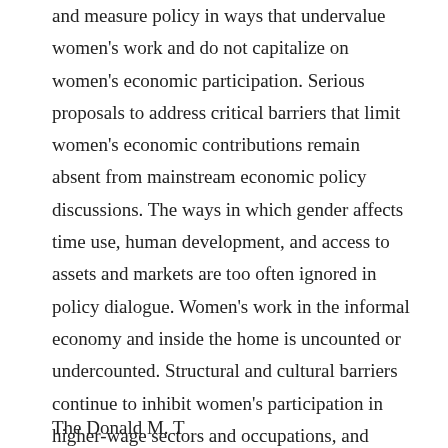and measure policy in ways that undervalue women's work and do not capitalize on women's economic participation. Serious proposals to address critical barriers that limit women's economic contributions remain absent from mainstream economic policy discussions. The ways in which gender affects time use, human development, and access to assets and markets are too often ignored in policy dialogue. Women's work in the informal economy and inside the home is uncounted or undercounted. Structural and cultural barriers continue to inhibit women's participation in higher-wage sectors and occupations, and gender wage gaps persist everywhere in the world.
The Donald M. Trem...